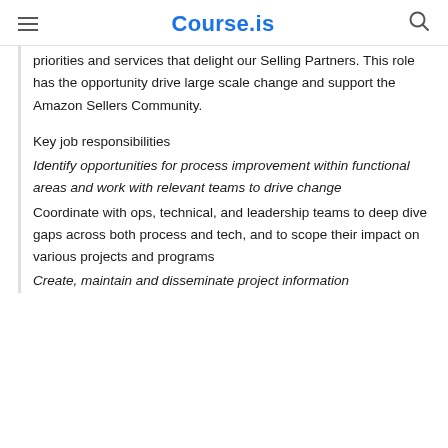Course.is
priorities and services that delight our Selling Partners. This role has the opportunity drive large scale change and support the Amazon Sellers Community.
Key job responsibilities
Identify opportunities for process improvement within functional areas and work with relevant teams to drive change
Coordinate with ops, technical, and leadership teams to deep dive gaps across both process and tech, and to scope their impact on various projects and programs
Create, maintain and disseminate project information